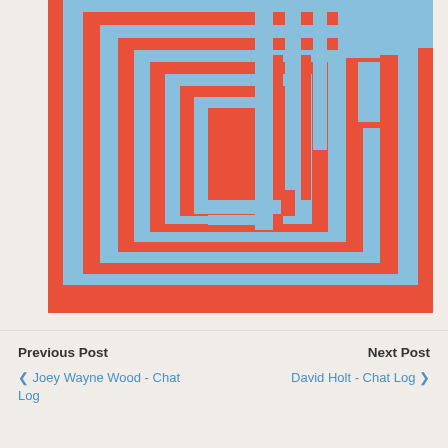[Figure (illustration): Abstract geometric image with nested rectangular spiral shapes in coral/red and sky blue colors against a light background. The pattern creates a maze-like or labyrinth visual effect with alternating red-orange and blue rectangular bands forming concentric angular spirals.]
Previous Post
< Joey Wayne Wood - Chat Log
Next Post
David Holt - Chat Log >